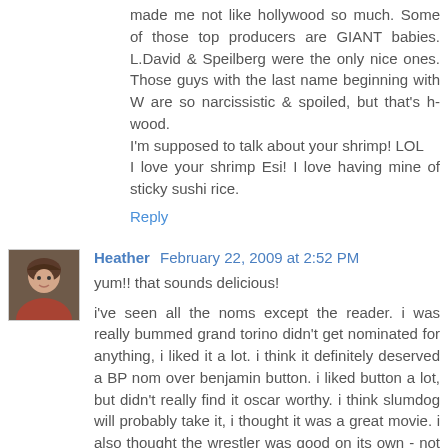made me not like hollywood so much. Some of those top producers are GIANT babies. L.David & Speilberg were the only nice ones. Those guys with the last name beginning with W are so narcissistic & spoiled, but that's h-wood.
I'm supposed to talk about your shrimp! LOL
I love your shrimp Esi! I love having mine of sticky sushi rice.
Reply
[Figure (photo): Avatar photo of Heather, a woman smiling, appears to be a small profile picture thumbnail]
Heather  February 22, 2009 at 2:52 PM
yum!! that sounds delicious!
i've seen all the noms except the reader. i was really bummed grand torino didn't get nominated for anything, i liked it a lot. i think it definitely deserved a BP nom over benjamin button. i liked button a lot, but didn't really find it oscar worthy. i think slumdog will probably take it, i thought it was a great movie. i also thought the wrestler was good on its own - not just because of mickey rourke. he was really good, though.